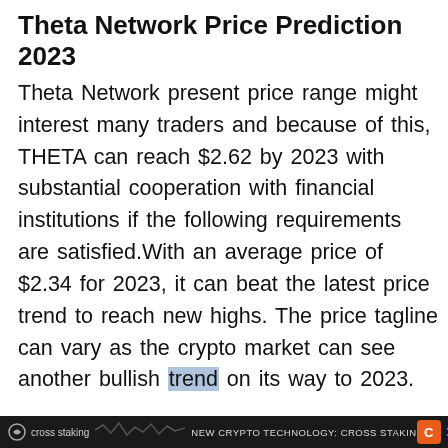Theta Network Price Prediction 2023
Theta Network present price range might interest many traders and because of this, THETA can reach $2.62 by 2023 with substantial cooperation with financial institutions if the following requirements are satisfied.With an average price of $2.34 for 2023, it can beat the latest price trend to reach new highs. The price tagline can vary as the crypto market can see another bullish trend on its way to 2023.
cross staking  NEW CRYPTO TECHNOLOGY: CROSS STAKIN